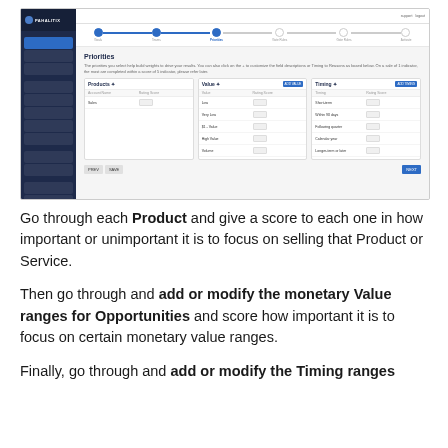[Figure (screenshot): Pahalitix application screenshot showing a Priorities page with three column panels: Products, Value, and Timing, each with table-style rows for ranking items. A progress bar at the top shows the current step. Dark navy sidebar on the left with menu items.]
Go through each Product and give a score to each one in how important or unimportant it is to focus on selling that Product or Service.
Then go through and add or modify the monetary Value ranges for Opportunities and score how important it is to focus on certain monetary value ranges.
Finally, go through and add or modify the Timing ranges